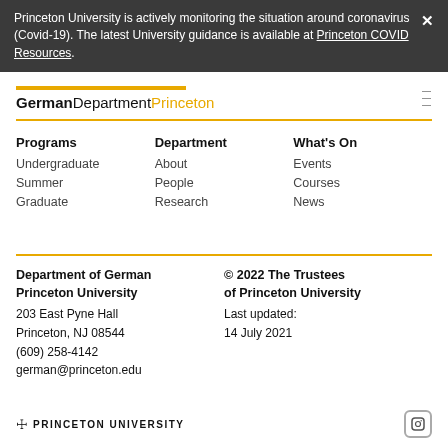Princeton University is actively monitoring the situation around coronavirus (Covid-19). The latest University guidance is available at Princeton COVID Resources.
[Figure (logo): German Department Princeton logo with gold underline bar]
Programs
Undergraduate
Summer
Graduate
Department
About
People
Research
What's On
Events
Courses
News
Department of German
Princeton University
203 East Pyne Hall
Princeton, NJ 08544
(609) 258-4142
german@princeton.edu
© 2022 The Trustees of Princeton University
Last updated:
14 July 2021
[Figure (logo): Princeton University shield logo and text at bottom]